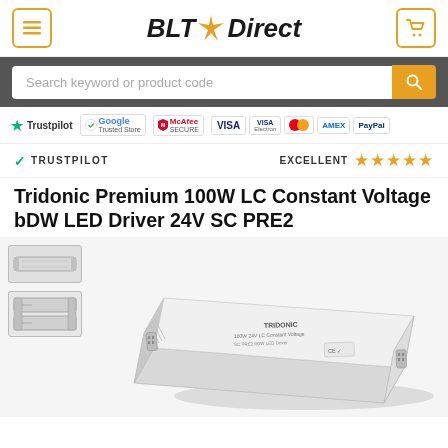[Figure (screenshot): BLT Direct website header with hamburger menu icon, BLT Direct logo with sunburst, and shopping cart icon]
[Figure (screenshot): Search bar with placeholder text 'Search keyword or product code' and orange search button]
[Figure (screenshot): Trust badges row: Trustpilot, Google Trusted Store, McAfee Secure, Visa, Visa Electron, Mastercard, Amex, PayPal]
✔ TRUSTPILOT    EXCELLENT ★★★★★
Tridonic Premium 100W LC Constant Voltage bDW LED Driver 24V SC PRE2
[Figure (photo): Product photos of Tridonic 100W LED Driver - white rectangular driver unit shown from multiple angles including top-down thumbnail, side diagram thumbnail, and main large angled view]